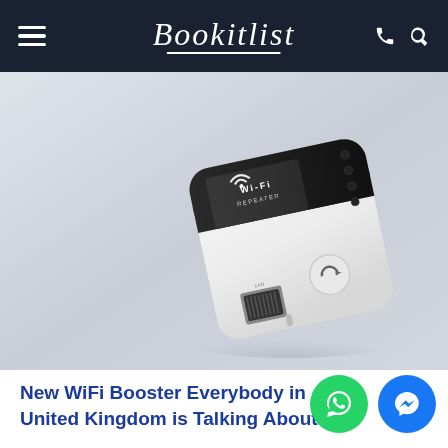Bookitlist
[Figure (photo): A white WiFi repeater/booster device with a black band, showing LED indicators and an Ethernet port, with a network cable connector in the foreground, on a light gray background.]
New WiFi Booster Everybody in United Kingdom is Talking About